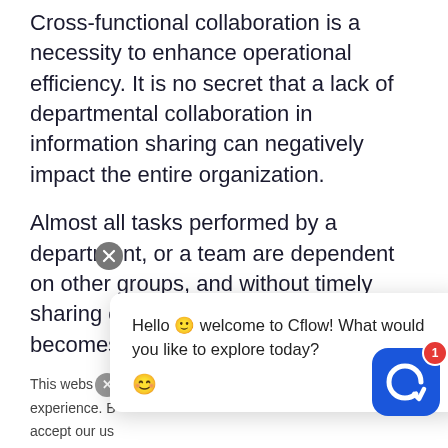Cross-functional collaboration is a necessity to enhance operational efficiency. It is no secret that a lack of departmental collaboration in information sharing can negatively impact the entire organization.
Almost all tasks performed by a department, or a team are dependent on other groups, and without timely sharing of information, every activity becomes a time-consuming chore.
Collaboration between teams is essential for...
This webs [X] u ... Hello 🙂 welcome to Cflow! What would you like to explore today? 😊 ... experience. B ... accept our us...